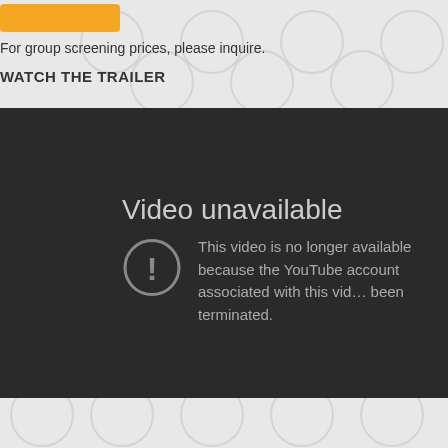[Figure (screenshot): Yellow button partially visible at top left of the page]
For group screening prices, please inquire.
WATCH THE TRAILER
[Figure (screenshot): YouTube video unavailable error screen with dark background. Shows error icon (circle with exclamation mark) and text: 'Video unavailable. This video is no longer available because the YouTube account associated with this video has been terminated.']